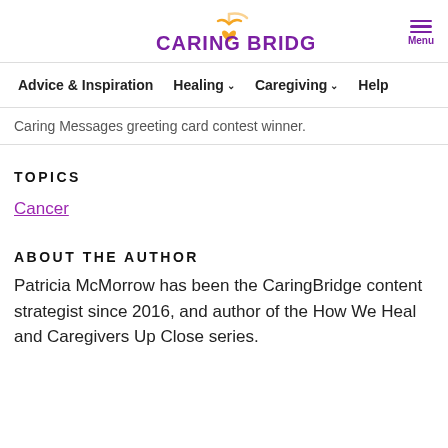CARINGBRIDGE.
Menu
Advice & Inspiration   Healing ▾   Caregiving ▾   Help
Caring Messages greeting card contest winner.
TOPICS
Cancer
ABOUT THE AUTHOR
Patricia McMorrow has been the CaringBridge content strategist since 2016, and author of the How We Heal and Caregivers Up Close series.